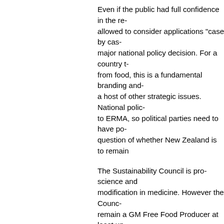Even if the public had full confidence in the re- allowed to consider applications "case by cas- major national policy decision. For a country t- from food, this is a fundamental branding and- a host of other strategic issues. National polic- to ERMA, so political parties need to have po- question of whether New Zealand is to remain
The Sustainability Council is pro-science and modification in medicine. However the Counc- remain a GM Free Food Producer at least un- products in key export markets, and sufficient- the environmental effects of GMOs to properl- Zealand.
ENDS
------
5.Poll Details
Question: "While genetic modification is being there is no commercial production of genetica- Should New Zealand's food production remain
Response:
Aug 2003 (Colmar Brunton): Yes: 70.1%; No:
Aug 2005 (DigiPoll): Yes: 74.5%; No: 18.3%: